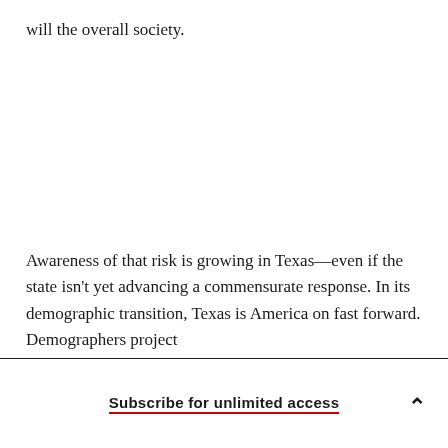will the overall society.
Awareness of that risk is growing in Texas—even if the state isn't yet advancing a commensurate response. In its demographic transition, Texas is America on fast forward. Demographers project
Subscribe for unlimited access